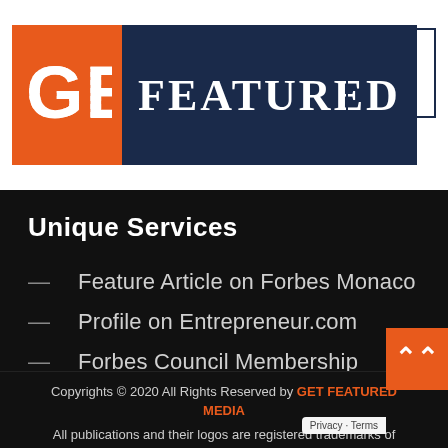[Figure (logo): GET FEATURED logo: orange block with 'GET' in white and dark navy block with 'FEATURED' in white serif text]
[Figure (other): Menu/hamburger icon — square box with a horizontal line in the center]
Unique Services
Feature Article on Forbes Monaco
Profile on Entrepreneur.com
Forbes Council Membership
Copyrights © 2020 All Rights Reserved by GET FEATURED MEDIA
All publications and their logos are registered trademarks of